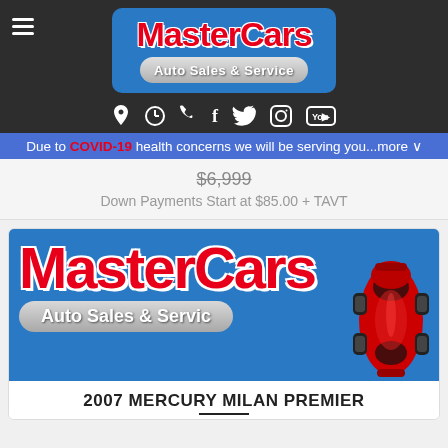MasterCars Auto Sales & Service
Due to COVID-19 health concerns we will be serving you...more
$6,999
Down Payments Start at $85.00 + TAVT
[Figure (logo): MasterCars Auto Sales & Service logo on blue background with red sports car]
2007 MERCURY MILAN PREMIER